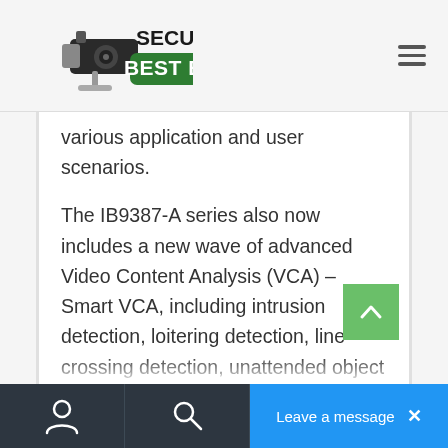Security Best Buy
various application and user scenarios.
The IB9387-A series also now includes a new wave of advanced Video Content Analysis (VCA) – Smart VCA, including intrusion detection, loitering detection, line crossing detection, unattended object detection, missing object detection, face detection. These features are the next steps in elevating surveillance cameras from image capturing